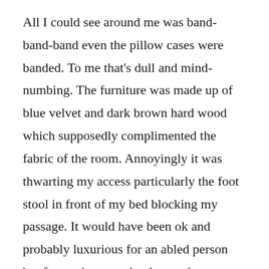All I could see around me was band-band-band even the pillow cases were banded. To me that's dull and mind-numbing. The furniture was made up of blue velvet and dark brown hard wood which supposedly complimented the fabric of the room. Annoyingly it was thwarting my access particularly the foot stool in front of my bed blocking my passage. It would have been ok and probably luxurious for an abled person but for me it was redundant and unnecessary. So I called the reception and asked to have it removed from my room. In the bathroom though the toilet had grab rails the shower had non save for a low seat. After taking a shower the following morning I somehow utilised the toilet grab rails and had to be extra cautious because the bathroom floor was susceptible to slipping. The bathroom design ...